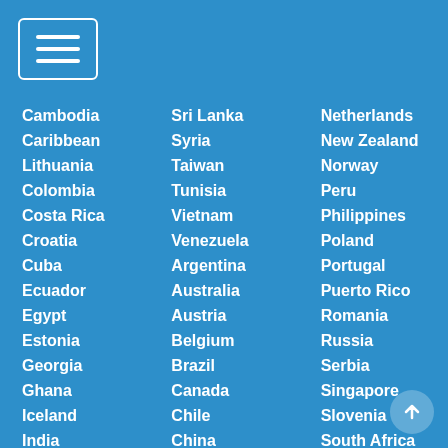[Figure (other): Hamburger menu button icon with three horizontal white lines inside a white-bordered rounded rectangle]
Cambodia
Caribbean
Lithuania
Colombia
Costa Rica
Croatia
Cuba
Ecuador
Egypt
Estonia
Georgia
Ghana
Iceland
India
Indonesia
Jordan
Sri Lanka
Syria
Taiwan
Tunisia
Vietnam
Venezuela
Argentina
Australia
Austria
Belgium
Brazil
Canada
Chile
China
Cyprus
Czech Republic
Netherlands
New Zealand
Norway
Peru
Philippines
Poland
Portugal
Puerto Rico
Romania
Russia
Serbia
Singapore
Slovenia
South Africa
Spain
Sweden